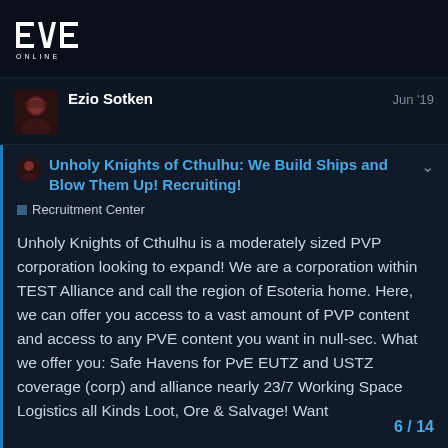EVE Online
Ezio Sotken  Jun '19
Unholy Knights of Cthulhu: We Build Ships and Blow Them Up! Recruiting!
Recruitment Center
Unholy Knights of Cthulhu is a moderately sized PVP corporation looking to expand! We are a corporation within TEST Alliance and call the region of Esoteria home. Here, we can offer you access to a vast amount of PVP content and access to any PVE content you want in null-sec. What we offer you: Safe Havens for PvE EUTZ and USTZ coverage (corp) and alliance nearly 23/7 Working Space Logistics all Kinds Loot, Ore & Salvage! Want
6 / 14